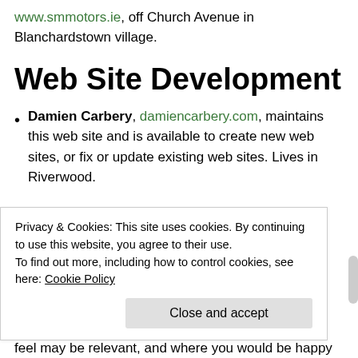www.smmotors.ie, off Church Avenue in Blanchardstown village.
Web Site Development
Damien Carbery, damiencarbery.com, maintains this web site and is available to create new web sites, or fix or update existing web sites. Lives in Riverwood.
If you want to the contact info for the person who provided the recommendations above – please
Privacy & Cookies: This site uses cookies. By continuing to use this website, you agree to their use.
To find out more, including how to control cookies, see here: Cookie Policy
feel may be relevant, and where you would be happy